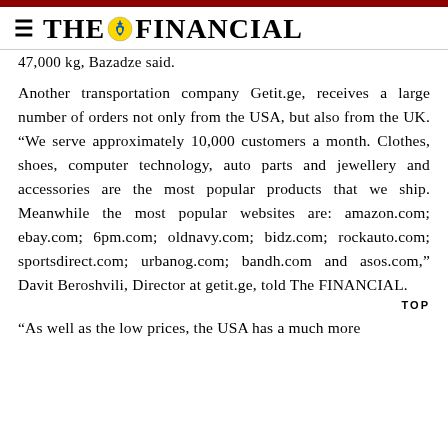THE FINANCIAL
47,000 kg,  Bazadze said.
Another transportation company Getit.ge, receives a large number of orders not only from the USA, but also from the UK. “We serve approximately 10,000 customers a month. Clothes, shoes, computer technology, auto parts and jewellery and accessories are the most popular products that we ship. Meanwhile the most popular websites are: amazon.com; ebay.com; 6pm.com; oldnavy.com; bidz.com; rockauto.com; sportsdirect.com; urbanog.com; bandh.com and asos.com,” Davit Beroshvili, Director at getit.ge, told The FINANCIAL.
“As well as the low prices, the USA has a much more